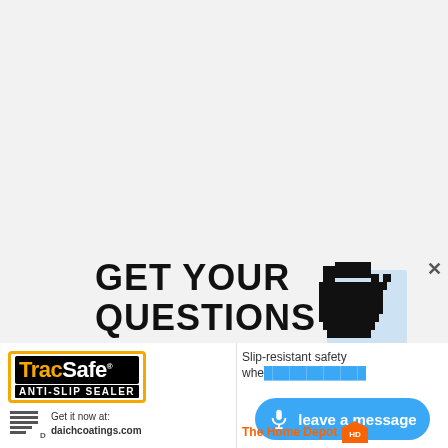GET YOUR QUESTIONS ANSWERED
[Figure (illustration): Pixelated fist/thumbs icon in pixel-art style, black and white with blue shadow accent]
[Figure (logo): TracSafe Anti-Slip Sealer logo with gold and black branding, plus Daich Coatings logo with text 'Get it now at: daichcoatings.com']
Slip-resistant safety whe...
[Figure (illustration): Blue rounded pill button with microphone icon and text 'leave a message']
The Home Depot